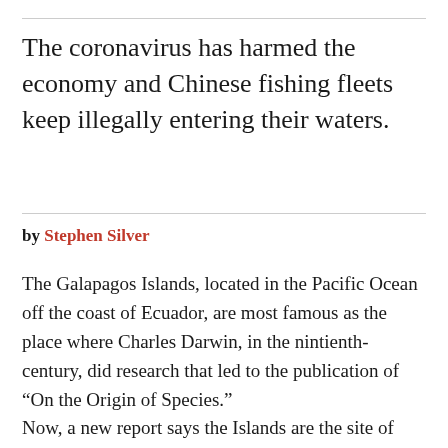The coronavirus has harmed the economy and Chinese fishing fleets keep illegally entering their waters.
by Stephen Silver
The Galapagos Islands, located in the Pacific Ocean off the coast of Ecuador, are most famous as the place where Charles Darwin, in the nintienth-century, did research that led to the publication of “On the Origin of Species.”
Now, a new report says the Islands are the site of